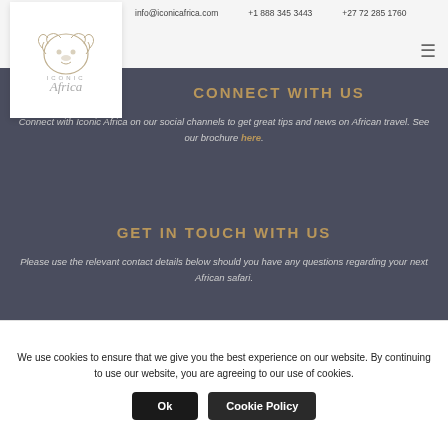info@iconicafrica.com   +1 888 345 3443   +27 72 285 1760
[Figure (logo): Iconic Africa logo with stylized lion head and cursive Africa text]
CONNECT WITH US
Connect with Iconic Africa on our social channels to get great tips and news on African travel. See our brochure here.
GET IN TOUCH WITH US
Please use the relevant contact details below should you have any questions regarding your next African safari.
Tel (South Africa): +27 72 285 1760
We use cookies to ensure that we give you the best experience on our website. By continuing to use our website, you are agreeing to our use of cookies.